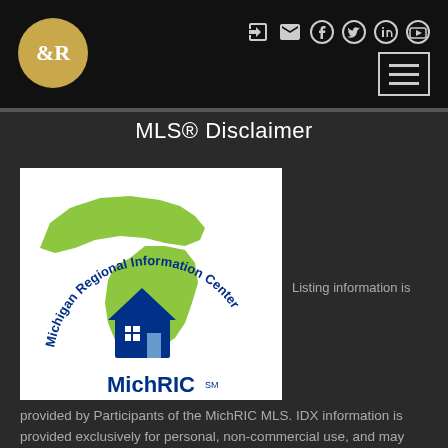Header with logo, social icons, and navigation
MLS® Disclaimer
[Figure (logo): MichRIC - Michigan Regional Information Center logo with map of Michigan outline in green and blue house icon]
Listing information is provided by Participants of the MichRIC MLS. IDX information is provided exclusively for personal, non-commercial use, and may not be used for any purpose other than to identify prospective